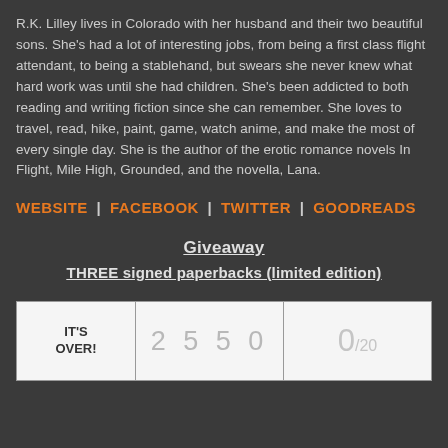R.K. Lilley lives in Colorado with her husband and their two beautiful sons. She's had a lot of interesting jobs, from being a first class flight attendant, to being a stablehand, but swears she never knew what hard work was until she had children. She's been addicted to both reading and writing fiction since she can remember. She loves to travel, read, hike, paint, game, watch anime, and make the most of every single day. She is the author of the erotic romance novels In Flight, Mile High, Grounded, and the novella, Lana.
WEBSITE | FACEBOOK | TWITTER | GOODREADS
Giveaway
THREE signed paperbacks (limited edition)
| IT'S OVER! | 2 5 5 0 | 0/20 |